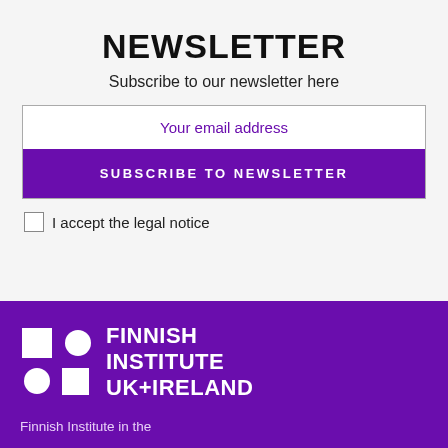NEWSLETTER
Subscribe to our newsletter here
Your email address
SUBSCRIBE TO NEWSLETTER
I accept the legal notice
[Figure (logo): Finnish Institute UK+Ireland logo — white icon and text on purple background]
Finnish Institute in the